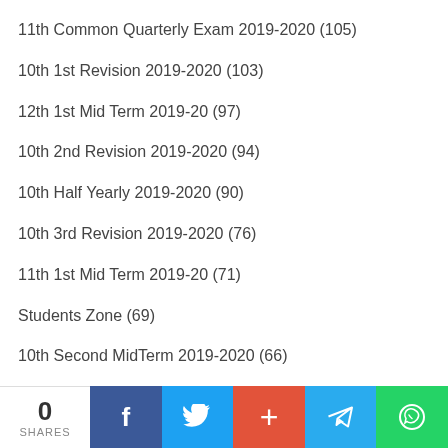11th Common Quarterly Exam 2019-2020 (105)
10th 1st Revision 2019-2020 (103)
12th 1st Mid Term 2019-20 (97)
10th 2nd Revision 2019-2020 (94)
10th Half Yearly 2019-2020 (90)
10th 3rd Revision 2019-2020 (76)
11th 1st Mid Term 2019-20 (71)
Students Zone (69)
10th Second MidTerm 2019-2020 (66)
Teachers Zone (60)
10th 1st Mid Term 2019-20 (47)
11th First MidTerm 2018-2019 (46)